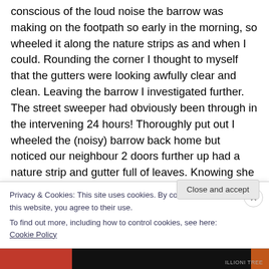conscious of the loud noise the barrow was making on the footpath so early in the morning, so wheeled it along the nature strips as and when I could. Rounding the corner I thought to myself that the gutters were looking awfully clear and clean. Leaving the barrow I investigated further. The street sweeper had obviously been through in the intervening 24 hours! Thoroughly put out I wheeled the (noisy) barrow back home but noticed our neighbour 2 doors further up had a nature strip and gutter full of leaves. Knowing she wouldn't mind, I raked up half the
Privacy & Cookies: This site uses cookies. By continuing to use this website, you agree to their use.
To find out more, including how to control cookies, see here: Cookie Policy
Close and accept